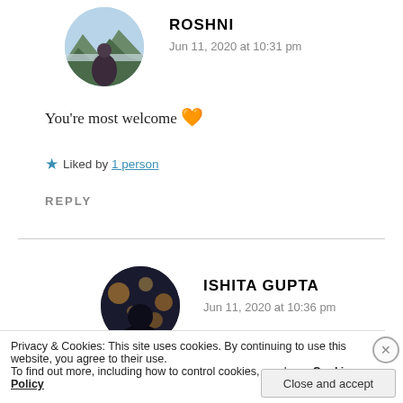[Figure (photo): Circular avatar photo of Roshni showing a person in winter landscape with mountains]
ROSHNI
Jun 11, 2020 at 10:31 pm
You're most welcome 🧡
★ Liked by 1 person
REPLY
[Figure (photo): Circular avatar photo of Ishita Gupta showing bokeh lights background]
ISHITA GUPTA
Jun 11, 2020 at 10:36 pm
Privacy & Cookies: This site uses cookies. By continuing to use this website, you agree to their use.
To find out more, including how to control cookies, see here: Cookie Policy
Close and accept